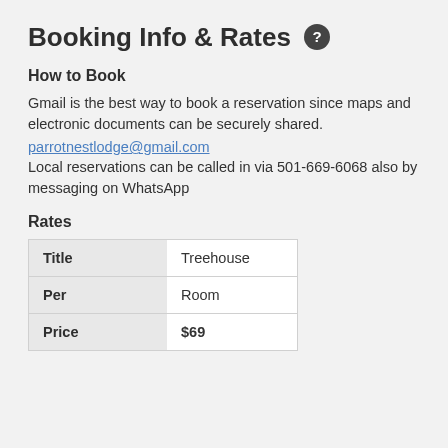Booking Info & Rates ?
How to Book
Gmail is the best way to book a reservation since maps and electronic documents can be securely shared.
parrotnestlodge@gmail.com
Local reservations can be called in via 501-669-6068 also by messaging on WhatsApp
Rates
| Title | Treehouse |
| --- | --- |
| Per | Room |
| Price | $69 |